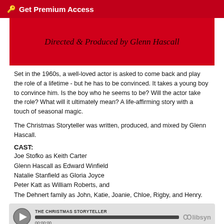🔑 Get Premium Access
[Figure (other): Red banner with text 'Directed & Produced by Glenn Hascall' in dark italic serif font on red background]
Set in the 1960s, a well-loved actor is asked to come back and play the role of a lifetime - but he has to be convinced. It takes a young boy to convince him. Is the boy who he seems to be? Will the actor take the role? What will it ultimately mean? A life-affirming story with a touch of seasonal magic.
The Christmas Storyteller was written, produced, and mixed by Glenn Hascall.
CAST:
Joe Stofko as Keith Carter
Glenn Hascall as Edward Winfield
Natalie Stanfield as Gloria Joyce
Peter Katt as William Roberts, and
The Dehnert family as John, Katie, Joanie, Chloe, Rigby, and Henry.
[Figure (screenshot): Audio player bar showing THE CHRISTMAS STORYTELLER, progress bar, timestamp 00:00:00, and libsyn logo]
Download this Episode